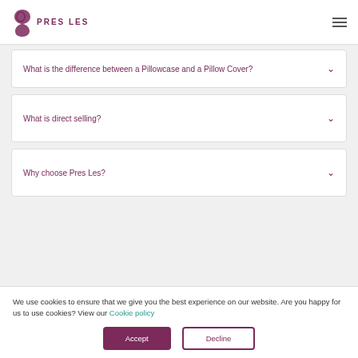PRES LES
What is the difference between a Pillowcase and a Pillow Cover?
What is direct selling?
Why choose Pres Les?
We use cookies to ensure that we give you the best experience on our website. Are you happy for us to use cookies? View our Cookie policy